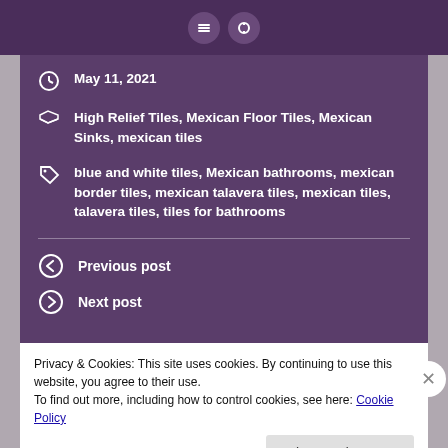[Figure (screenshot): Top purple bar with two circular icon buttons]
May 11, 2021
High Relief Tiles, Mexican Floor Tiles, Mexican Sinks, mexican tiles
blue and white tiles, Mexican bathrooms, mexican border tiles, mexican talavera tiles, mexican tiles, talavera tiles, tiles for bathrooms
Previous post
Next post
Privacy & Cookies: This site uses cookies. By continuing to use this website, you agree to their use.
To find out more, including how to control cookies, see here: Cookie Policy
Close and accept